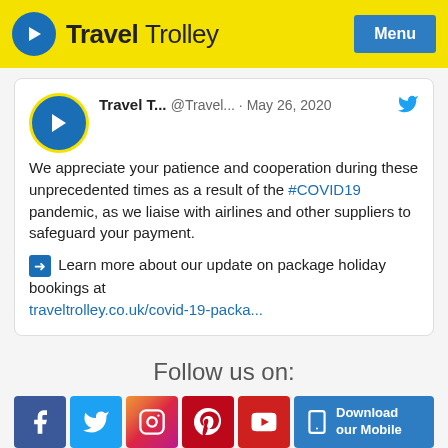Travel Trolley — Menu
[Figure (screenshot): Tweet from Travel Trolley account dated May 26, 2020: 'We appreciate your patience and cooperation during these unprecedented times as a result of the #COVID19 pandemic, as we liaise with airlines and other suppliers to safeguard your payment. Learn more about our update on package holiday bookings at traveltrolley.co.uk/covid-19-packa…']
Follow us on:
[Figure (infographic): Social media icons bar: Facebook, Twitter, Instagram, Pinterest, YouTube, and Download our Mobile app button]